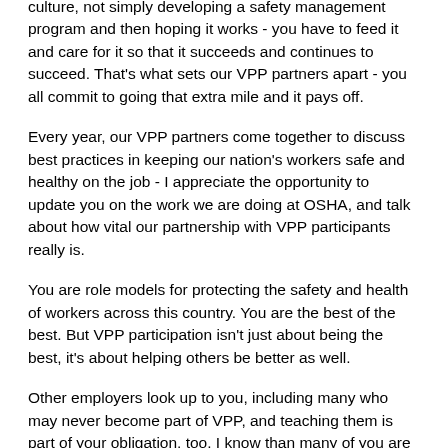culture, not simply developing a safety management program and then hoping it works - you have to feed it and care for it so that it succeeds and continues to succeed. That's what sets our VPP partners apart - you all commit to going that extra mile and it pays off.
Every year, our VPP partners come together to discuss best practices in keeping our nation's workers safe and healthy on the job - I appreciate the opportunity to update you on the work we are doing at OSHA, and talk about how vital our partnership with VPP participants really is.
You are role models for protecting the safety and health of workers across this country. You are the best of the best. But VPP participation isn't just about being the best, it's about helping others be better as well.
Other employers look up to you, including many who may never become part of VPP, and teaching them is part of your obligation, too. I know than many of you are already doing this, but we need - this country needs - every single person in this room to reach out to these other employers, large and small, to show them why safer, healthier workplaces are better for business, better for workers, better for the economy, better for the country.